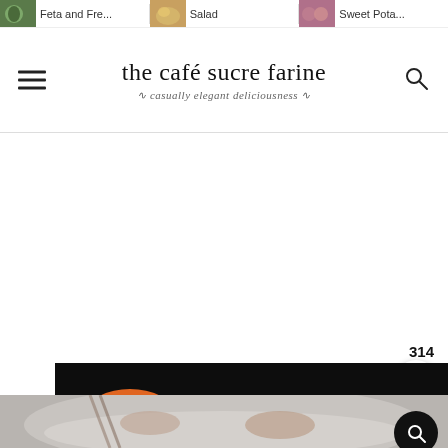Feta and Fre... | Salad | Sweet Pota...
the café sucre farine
casually elegant deliciousness
[Figure (photo): White background advertisement area]
314
[Figure (photo): Dark background food photo showing bowls of shredded carrots, sliced cucumbers with purple cabbage, and green beans]
[Figure (photo): Light colored food photo partially visible at bottom showing a rice bowl dish]